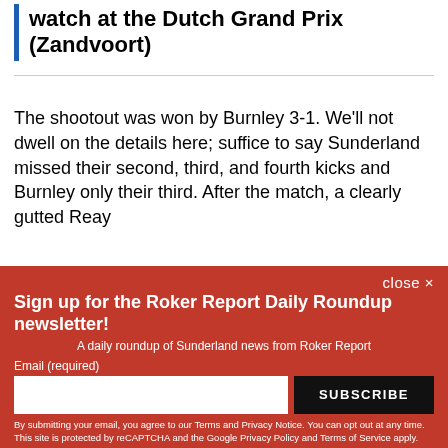watch at the Dutch Grand Prix (Zandvoort)
The shootout was won by Burnley 3-1. We'll not dwell on the details here; suffice to say Sunderland missed their second, third, and fourth kicks and Burnley only their third. After the match, a clearly gutted Reay
Sign up for the Roker Report Daily Roundup newsletter!
A daily roundup of Sunderland news from Roker Report
Email (required)
SUBSCRIBE
By submitting your email, you agree to our Terms and Privacy Notice. You can opt out at any time. This site is protected by reCAPTCHA and the Google Privacy Policy and Terms of Service apply.